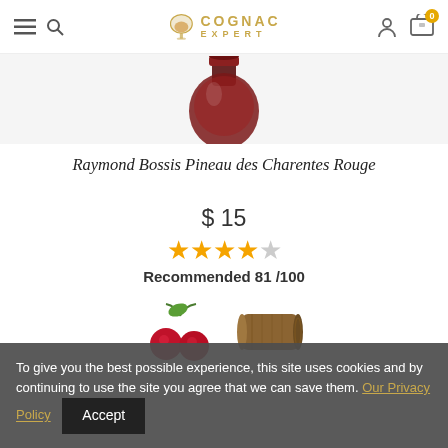Cognac Expert
[Figure (photo): Partial view of a dark red wine/cognac bottle top]
Raymond Bossis Pineau des Charentes Rouge
$ 15
[Figure (infographic): 4 filled orange stars and 1 empty star rating]
Recommended 81 /100
[Figure (illustration): Flavor icons: cherries and a wood log]
To give you the best possible experience, this site uses cookies and by continuing to use the site you agree that we can save them. Our Privacy Policy  Accept